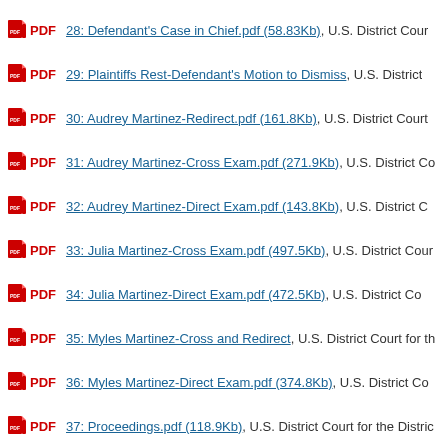PDF 28: Defendant's Case in Chief.pdf (58.83Kb), U.S. District Court
PDF 29: Plaintiffs Rest-Defendant's Motion to Dismiss, U.S. District
PDF 30: Audrey Martinez-Redirect.pdf (161.8Kb), U.S. District Court
PDF 31: Audrey Martinez-Cross Exam.pdf (271.9Kb), U.S. District Co
PDF 32: Audrey Martinez-Direct Exam.pdf (143.8Kb), U.S. District C
PDF 33: Julia Martinez-Cross Exam.pdf (497.5Kb), U.S. District Cour
PDF 34: Julia Martinez-Direct Exam.pdf (472.5Kb), U.S. District Co
PDF 35: Myles Martinez-Cross and Redirect, U.S. District Court for th
PDF 36: Myles Martinez-Direct Exam.pdf (374.8Kb), U.S. District Co
PDF 37: Proceedings.pdf (118.9Kb), U.S. District Court for the Distric
PDF 38: Caption-Appearances-Index.pdf (229.4Kb), U.S. District Co